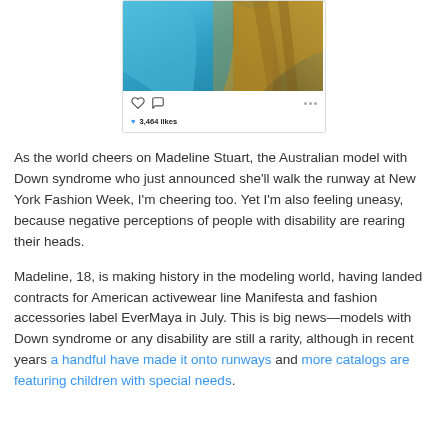[Figure (screenshot): Instagram post screenshot showing a partial image of a model in a blue outfit with braided hair accessories, with like and comment icons, three dots menu, and '3,464 likes' shown below the image.]
As the world cheers on Madeline Stuart, the Australian model with Down syndrome who just announced she'll walk the runway at New York Fashion Week, I'm cheering too. Yet I'm also feeling uneasy, because negative perceptions of people with disability are rearing their heads.
Madeline, 18, is making history in the modeling world, having landed contracts for American activewear line Manifesta and fashion accessories label EverMaya in July. This is big news—models with Down syndrome or any disability are still a rarity, although in recent years a handful have made it onto runways and more catalogs are featuring children with special needs.